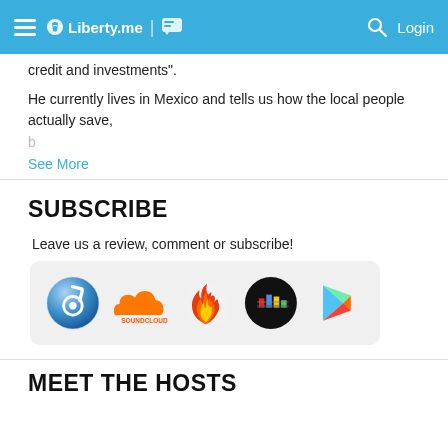Liberty.me | Login
credit and investments".
He currently lives in Mexico and tells us how the local people actually save,
See More
SUBSCRIBE
Leave us a review, comment or subscribe!
[Figure (other): Row of podcast/app platform icons: iTunes, SoundCloud, fire/podcast icon, YouTube/video icon, Google Play]
MEET THE HOSTS